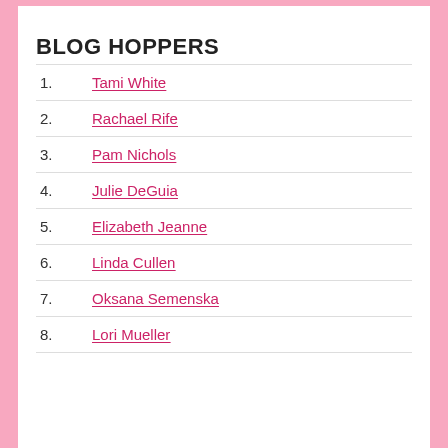BLOG HOPPERS
1. Tami White
2. Rachael Rife
3. Pam Nichols
4. Julie DeGuia
5. Elizabeth Jeanne
6. Linda Cullen
7. Oksana Semenska
8. Lori Mueller